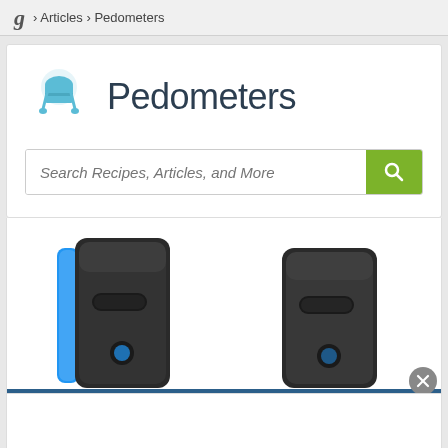g › Articles › Pedometers
Pedometers
Search Recipes, Articles, and More
[Figure (photo): Two black pedometer devices with blue accents, partially visible, cropped at bottom of page]